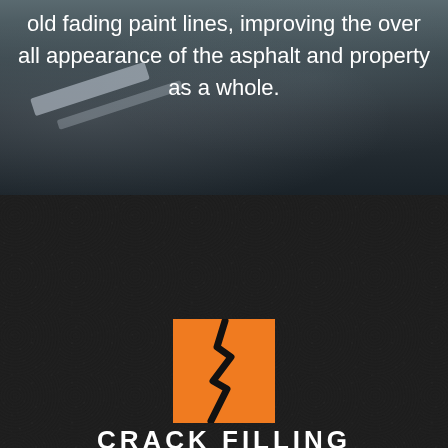old fading paint lines, improving the overall appearance of the asphalt and property as a whole.
[Figure (illustration): Orange square icon with a black jagged crack/lightning bolt running vertically through it, on a dark asphalt-textured background]
CRACK FILLING
TRUSEAL crack filling service is a fantastic way to prevent future damage to your